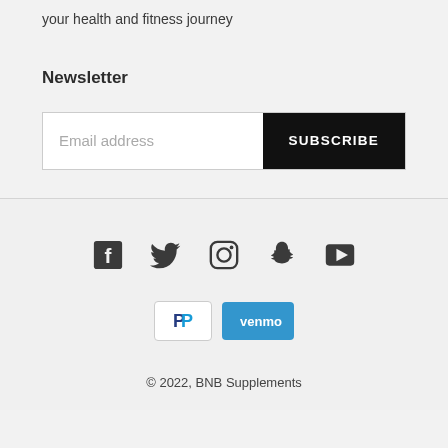your health and fitness journey
Newsletter
[Figure (screenshot): Email address input field with SUBSCRIBE button]
[Figure (infographic): Social media icons: Facebook, Twitter, Instagram, Snapchat, YouTube]
[Figure (infographic): Payment method badges: PayPal and Venmo]
© 2022, BNB Supplements